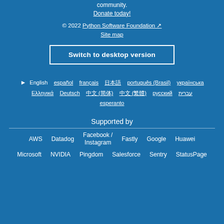community.
Donate today!
© 2022 Python Software Foundation  Site map
Switch to desktop version
English  español  français  日本語  português (Brasil)  українська  Ελληνικά  Deutsch  中文 (简体)  中文 (繁體)  русский  עברית  esperanto
Supported by
AWS  Datadog  Facebook / Instagram  Fastly  Google  Huawei  Microsoft  NVIDIA  Pingdom  Salesforce  Sentry  StatusPage